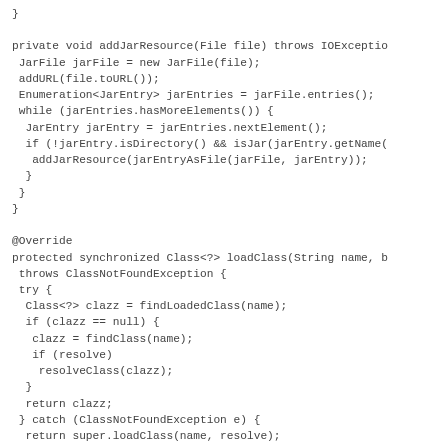}

private void addJarResource(File file) throws IOException {
 JarFile jarFile = new JarFile(file);
 addURL(file.toURL());
 Enumeration<JarEntry> jarEntries = jarFile.entries();
 while (jarEntries.hasMoreElements()) {
  JarEntry jarEntry = jarEntries.nextElement();
  if (!jarEntry.isDirectory() && isJar(jarEntry.getName(
   addJarResource(jarEntryAsFile(jarFile, jarEntry));
  }
 }
}

@Override
protected synchronized Class<?> loadClass(String name, b
 throws ClassNotFoundException {
 try {
  Class<?> clazz = findLoadedClass(name);
  if (clazz == null) {
   clazz = findClass(name);
   if (resolve)
    resolveClass(clazz);
  }
  return clazz;
 } catch (ClassNotFoundException e) {
  return super.loadClass(name, resolve);